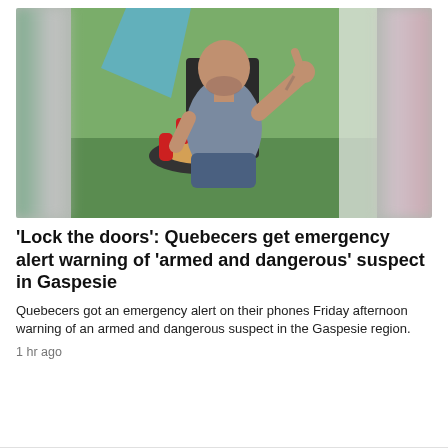[Figure (photo): A man sitting outdoors in a chair giving a thumbs up, with food on a table in front of him. The photo is framed with blurred edges on left and right sides.]
'Lock the doors': Quebecers get emergency alert warning of 'armed and dangerous' suspect in Gaspesie
Quebecers got an emergency alert on their phones Friday afternoon warning of an armed and dangerous suspect in the Gaspesie region.
1 hr ago